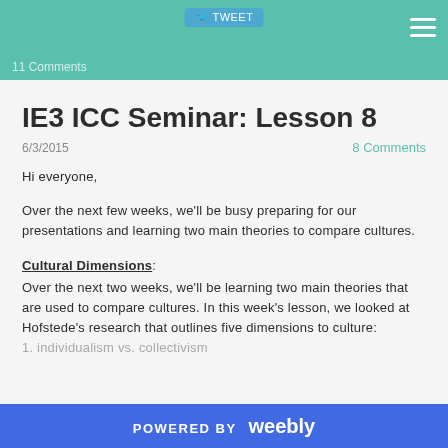Tweet  11 Comments
IE3 ICC Seminar: Lesson 8
6/3/2015  8 Comments
Hi everyone,
Over the next few weeks, we'll be busy preparing for our presentations and learning two main theories to compare cultures.
Cultural Dimensions:
Over the next two weeks, we'll be learning two main theories that are used to compare cultures. In this week's lesson, we looked at Hofstede's research that outlines five dimensions to culture:
1.  individualism vs. collectivism
POWERED BY weebly